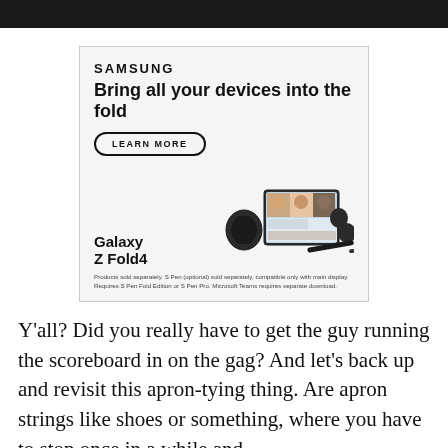[Figure (other): Samsung advertisement for Galaxy Z Fold4. Shows Samsung logo, headline 'Bring all your devices into the fold', a 'LEARN MORE' button, product name 'Galaxy Z Fold4', and images of a smartwatch, foldable phone showing a video call with three people, and wireless earbuds with S Pen.]
Products sold separately. S Pen (optional) sold separately, compatible only with main display. Requires S Pen Fold Edition or S Pen Pro. Microsoft Teams requires separate download.
Y'all? Did you really have to get the guy running the scoreboard in on the gag? And let's back up and revisit this apron-tying thing. Are apron strings like shoes or something, where you have to stop once in a while and